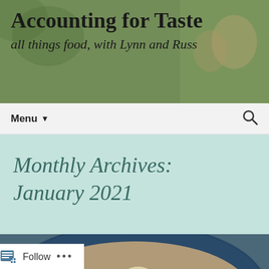Accounting for Taste
all things food, with Lynn and Russ
Menu ▼
Monthly Archives: January 2021
[Figure (photo): Close-up of a blue bowl filled with chicken stew containing carrots, potatoes, celery, and broth]
Follow ...